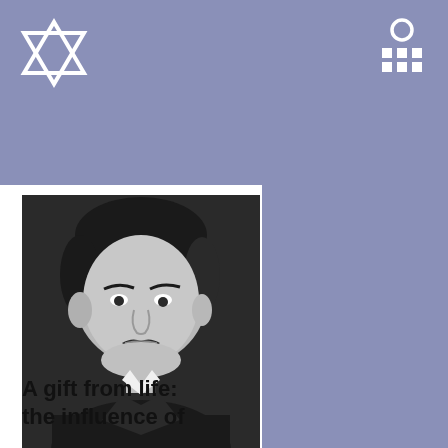[Figure (logo): Star of David icon in white, top left of purple/blue header bar]
[Figure (logo): Museum/institution icon in white, top right of purple/blue header bar]
[Figure (photo): Black and white portrait photograph of a man with a mustache wearing a dark jacket and white collar]
A gift from life: the influence of